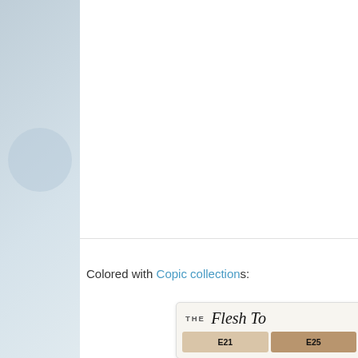[Figure (photo): Partial view of a handmade card on blue background, partially cut off on right side. A decorative card with brown basket or urn motif with blue ribbons on blue card stock, propped at an angle.]
Colored with Copic collections:
[Figure (other): Copic marker collection card titled 'THE Flesh To...' showing color swatches E21 (light tan) and E25 (medium brown), partially cut off on right.]
[Figure (other): Copic marker collection card titled 'THE True B...' showing color swatches B32 (light blue) and B (partially cut off), partially cut off on right.]
[Figure (other): Copic marker collection card titled 'THE Green G...' showing color swatches YG11 (light yellow-green) and Y (partially cut off), partially cut off on right.]
[Figure (other): Bottom of another Copic marker collection card, partially visible at bottom of page, cut off.]